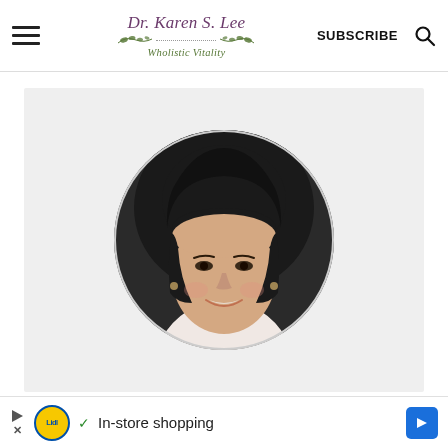Dr. Karen S. Lee Wholistic Vitality — SUBSCRIBE
[Figure (photo): Circular portrait photo of Dr. Karen S. Lee, an Asian woman smiling, wearing a white shirt, against a dark background, displayed on a light gray card.]
In-store shopping